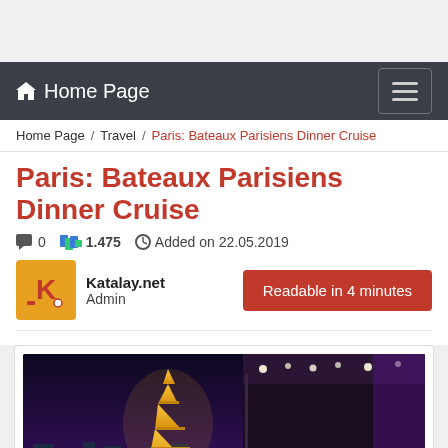Home Page
Home Page / Travel / Paris: Bateaux Parisiens Dinner Cruise
Paris: Bateaux Parisiens Dinner Cruise
0   1.475   Added on 22.05.2019
Katalay.net
Admin
Readable in 4 minutes
[Figure (photo): Photo of the Eiffel Tower lit up at night viewed from inside a dinner cruise boat on the Seine River, with warm interior lighting visible on the right side.]